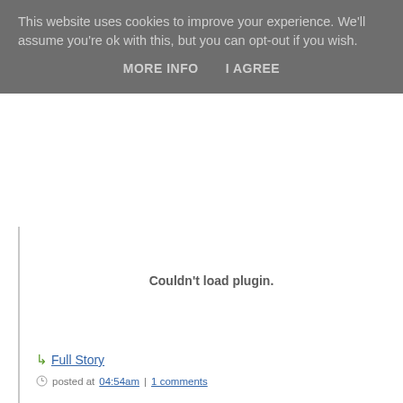This website uses cookies to improve your experience. We'll assume you're ok with this, but you can opt-out if you wish.
MORE INFO    I AGREE
[Figure (other): Plugin failed to load area showing 'Couldn't load plugin.' message]
Full Story
posted at 04:54am | 1 comments